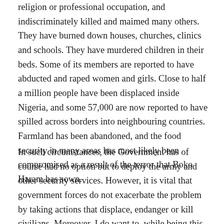religion or professional occupation, and indiscriminately killed and maimed many others. They have burned down houses, churches, clinics and schools. They have murdered children in their beds. Some of its members are reported to have abducted and raped women and girls. Close to half a million people have been displaced inside Nigeria, and some 57,000 are now reported to have spilled across borders into neighbouring countries. Farmland has been abandoned, and the food security in many areas has most likely been compromised as a result of the terror that Boko Haram has sown.
In such circumstances, the Government has of course had no option but to deploy the army and other security services. However, it is vital that government forces do not exacerbate the problem by taking actions that displace, endanger or kill civilians. Moreover, I do want to, while being this visit, also